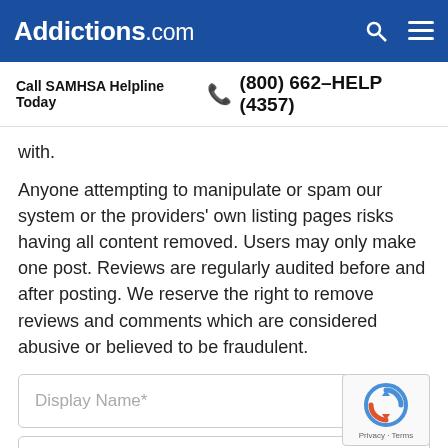Addictions.com
Call SAMHSA Helpline Today  (800) 662-HELP (4357)
with.
Anyone attempting to manipulate or spam our system or the providers' own listing pages risks having all content removed. Users may only make one post. Reviews are regularly audited before and after posting. We reserve the right to remove reviews and comments which are considered abusive or believed to be fraudulent.
Display Name*
Email*